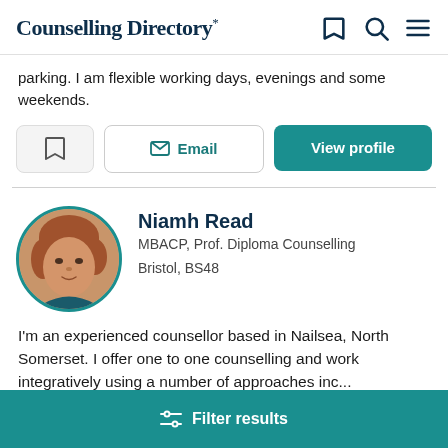Counselling Directory
parking. I am flexible working days, evenings and some weekends.
[Figure (screenshot): Action buttons: bookmark, Email, View profile]
[Figure (photo): Profile photo of Niamh Read, a woman with auburn hair]
Niamh Read
MBACP, Prof. Diploma Counselling
Bristol, BS48
I'm an experienced counsellor based in Nailsea, North Somerset. I offer one to one counselling and work integratively using a number of approaches inc...
Filter results